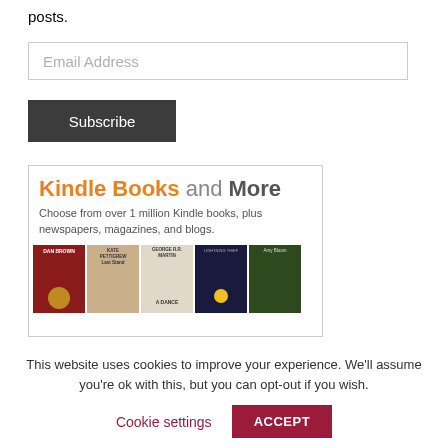posts.
Email Address
Subscribe
[Figure (screenshot): Kindle Books and More advertisement banner showing book covers for Dan Brown, Kate Pettigrew Last Stand, George R.R. Martin A Dance, Lightning Thief, and Amy Bloom titles. Text reads: Kindle Books and More - Choose from over 1 million Kindle books, plus newspapers, magazines, and blogs.]
This website uses cookies to improve your experience. We'll assume you're ok with this, but you can opt-out if you wish.
Cookie settings
ACCEPT